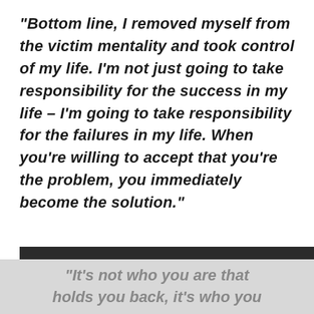“Bottom line, I removed myself from the victim mentality and took control of my life. I’m not just going to take responsibility for the success in my life – I’m going to take responsibility for the failures in my life. When you’re willing to accept that you’re the problem, you immediately become the solution.”
“It’s not who you are that holds you back, it’s who you